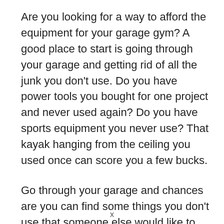Are you looking for a way to afford the equipment for your garage gym? A good place to start is going through your garage and getting rid of all the junk you don't use. Do you have power tools you bought for one project and never used again? Do you have sports equipment you never use? That kayak hanging from the ceiling you used once can score you a few bucks.
Go through your garage and chances are you can find some things you don't use that someone else would like to have. Facebook Marketplace, Craigslist, Nexdoor, and eBay are all good places to sell.
x